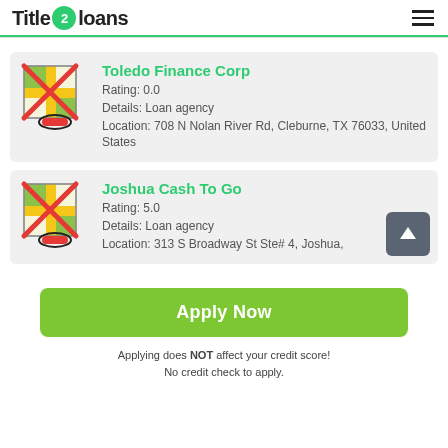Title 2 loans
Toledo Finance Corp
Rating: 0.0
Details: Loan agency
Location: 708 N Nolan River Rd, Cleburne, TX 76033, United States
Joshua Cash To Go
Rating: 5.0
Details: Loan agency
Location: 313 S Broadway St Ste# 4, Joshua,
Apply Now
Applying does NOT affect your credit score!
No credit check to apply.